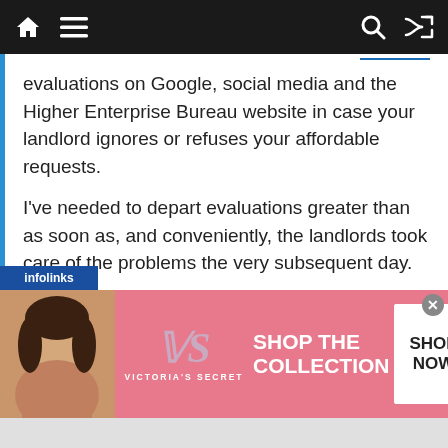Navigation bar with home, menu, search, and shuffle icons
evaluations on Google, social media and the Higher Enterprise Bureau website in case your landlord ignores or refuses your affordable requests.
I've needed to depart evaluations greater than as soon as, and conveniently, the landlords took care of the problems the very subsequent day.
Earlier than you already know it, winter will come and go. Scale back power consumption year-round additionally studying our ideas for
[Figure (advertisement): Victoria's Secret advertisement banner with model photo, VS logo, 'SHOP THE COLLECTION' text and 'SHOP NOW' button on pink background]